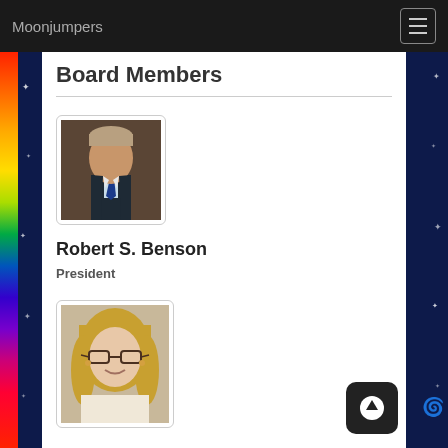Moonjumpers
Board Members
[Figure (photo): Headshot photo of Robert S. Benson, a middle-aged man in a dark suit with tie]
Robert S. Benson
President
[Figure (photo): Headshot photo of a woman with blonde hair and glasses, smiling]